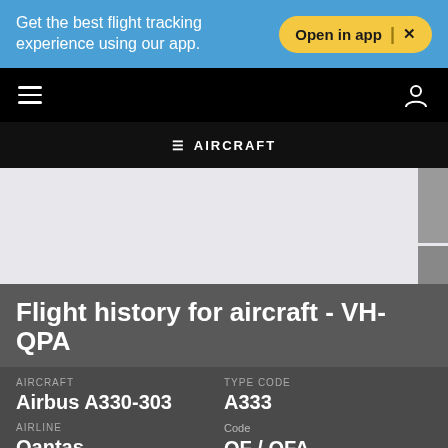Get the best flight tracking experience using our app.
Open in app | X
≡ AIRCRAFT
[Figure (screenshot): Map area showing aircraft route with sidebar controls]
Flight history for aircraft - VH-QPA
| Field | Value |
| --- | --- |
| AIRCRAFT | Airbus A330-303 |
| TYPE CODE | A333 |
| AIRLINE | Qantas |
| Code | QF / QFA |
| OPERATOR | Qantas |
| Code | QF / QFA |
| MODE S | 7C531C |